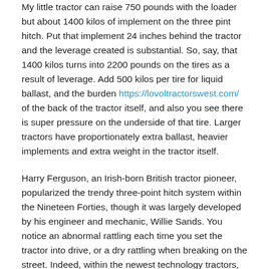My little tractor can raise 750 pounds with the loader but about 1400 kilos of implement on the three pint hitch. Put that implement 24 inches behind the tractor and the leverage created is substantial. So, say, that 1400 kilos turns into 2200 pounds on the tires as a result of leverage. Add 500 kilos per tire for liquid ballast, and the burden https://lovoltractorswest.com/ of the back of the tractor itself, and also you see there is super pressure on the underside of that tire. Larger tractors have proportionately extra ballast, heavier implements and extra weight in the tractor itself.
Harry Ferguson, an Irish-born British tractor pioneer, popularized the trendy three-point hitch system within the Nineteen Forties, though it was largely developed by his engineer and mechanic, Willie Sands. You notice an abnormal rattling each time you set the tractor into drive, or a dry rattling when breaking on the street. Indeed, within the newest technology tractors, when breaking on the highway, the entrance axle is engaged routinely so as to enhance safety. Before shopping for new tyres, calculate your front-wheel lead ratio to guarantee that your set-up is optimal.